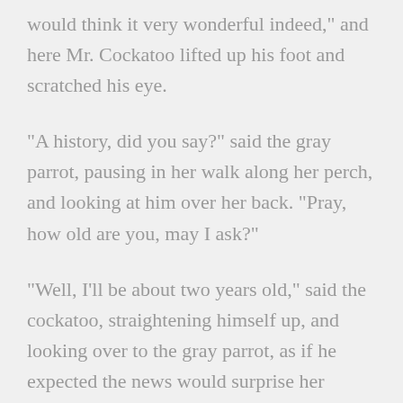would think it very wonderful indeed," and here Mr. Cockatoo lifted up his foot and scratched his eye.
"A history, did you say?" said the gray parrot, pausing in her walk along her perch, and looking at him over her back. "Pray, how old are you, may I ask?"
"Well, I'll be about two years old," said the cockatoo, straightening himself up, and looking over to the gray parrot, as if he expected the news would surprise her greatly.